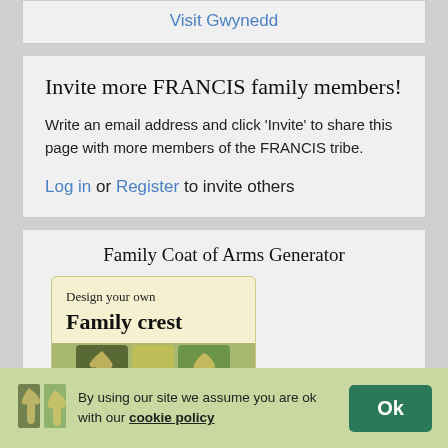Visit Gwynedd
Invite more FRANCIS family members!
Write an email address and click 'Invite' to share this page with more members of the FRANCIS tribe.
Log in or Register to invite others
Family Coat of Arms Generator
[Figure (illustration): Family crest generator widget showing 'Design your own Family crest' text on a tan background with a heraldic crest image below]
By using our site we assume you are ok with our cookie policy